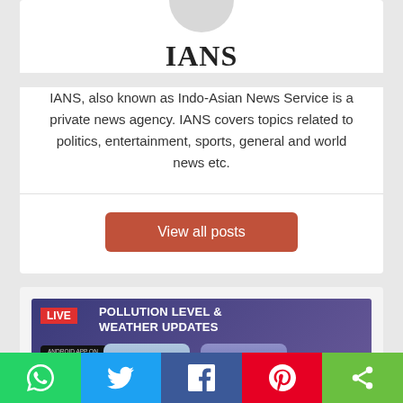IANS
IANS, also known as Indo-Asian News Service is a private news agency. IANS covers topics related to politics, entertainment, sports, general and world news etc.
View all posts
[Figure (screenshot): Mobile app advertisement showing LIVE Pollution Level & Weather Updates with Google Play download button and two smartphones showing city weather and pollution data (43 and 104 AQI)]
WhatsApp | Twitter | Facebook | Pinterest | Share